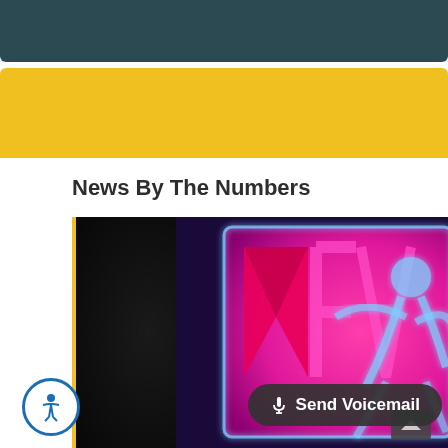News By The Numbers
[Figure (photo): MTV logo neon sign — pink and magenta M letter with a blue glowing figure, on dark background]
Send Voicemail